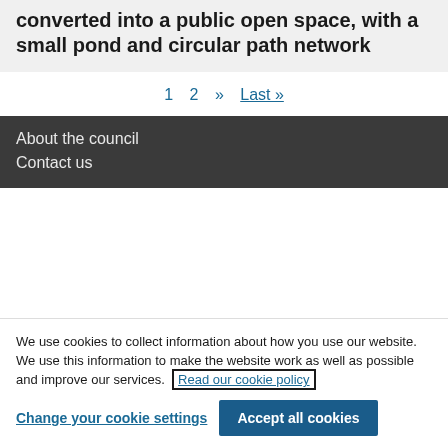demolished in the 1990s, and then converted into a public open space, with a small pond and circular path network
1  2  »  Last »
About the council
Contact us
We use cookies to collect information about how you use our website. We use this information to make the website work as well as possible and improve our services.  Read our cookie policy
Change your cookie settings
Accept all cookies